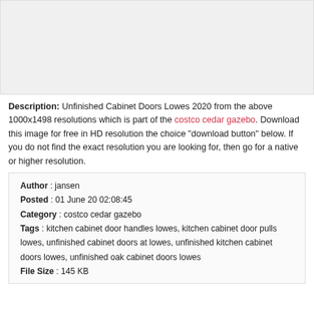[Figure (photo): Image placeholder area for Unfinished Cabinet Doors Lowes 2020]
Description: Unfinished Cabinet Doors Lowes 2020 from the above 1000x1498 resolutions which is part of the costco cedar gazebo. Download this image for free in HD resolution the choice "download button" below. If you do not find the exact resolution you are looking for, then go for a native or higher resolution.
Author : jansen
Posted : 01 June 20 02:08:45
Category : costco cedar gazebo
Tags : kitchen cabinet door handles lowes, kitchen cabinet door pulls lowes, unfinished cabinet doors at lowes, unfinished kitchen cabinet doors lowes, unfinished oak cabinet doors lowes
File Size : 145 KB